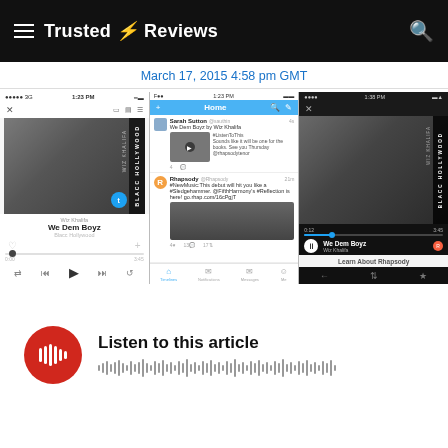Trusted Reviews
March 17, 2015 4:58 pm GMT
[Figure (screenshot): Three mobile app screenshots side by side: left shows iOS Music app playing 'We Dem Boyz' by Wiz Khalifa from Blacc Hollywood album; center shows a Twitter Home feed with tweets from Sarah Sutton and Rhapsody; right shows Rhapsody dark-theme app playing 'We Dem Boyz' by Wiz Khalifa with 'Learn About Rhapsody' button.]
[Figure (infographic): Listen to this article audio player with red circular play button and waveform visualization]